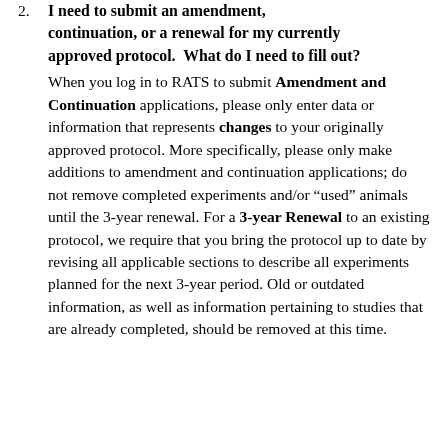2. I need to submit an amendment, continuation, or a renewal for my currently approved protocol.  What do I need to fill out? When you log in to RATS to submit Amendment and Continuation applications, please only enter data or information that represents changes to your originally approved protocol. More specifically, please only make additions to amendment and continuation applications; do not remove completed experiments and/or "used" animals until the 3-year renewal. For a 3-year Renewal to an existing protocol, we require that you bring the protocol up to date by revising all applicable sections to describe all experiments planned for the next 3-year period. Old or outdated information, as well as information pertaining to studies that are already completed, should be removed at this time.